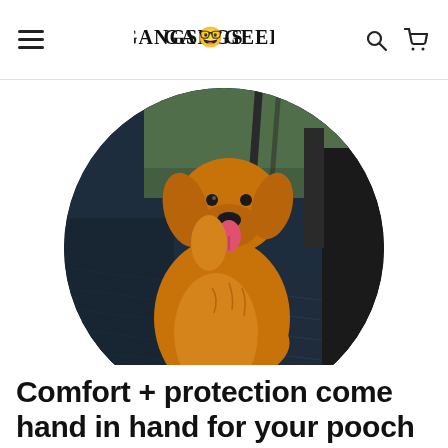GangsGeek — navigation bar with hamburger menu, logo, search and cart icons
[Figure (photo): A golden retriever sitting on a dark navy quilted dog car seat cover in the back seat of a car, shown inside a circular crop. Trees visible through the car windows in the background.]
Comfort + protection come hand in hand for your pooch